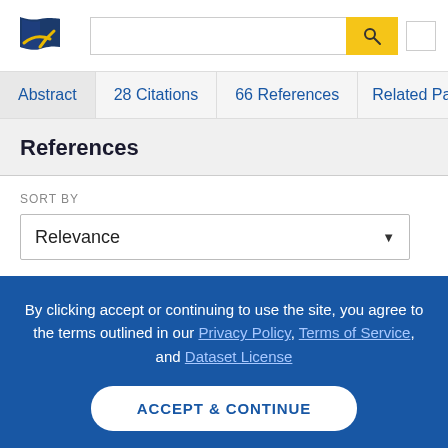[Figure (logo): Semantic Scholar logo — stylized book pages in navy blue with a gold/yellow checkmark swoosh]
Abstract | 28 Citations | 66 References | Related Pa...
References
SORT BY
Relevance
By clicking accept or continuing to use the site, you agree to the terms outlined in our Privacy Policy, Terms of Service, and Dataset License
ACCEPT & CONTINUE